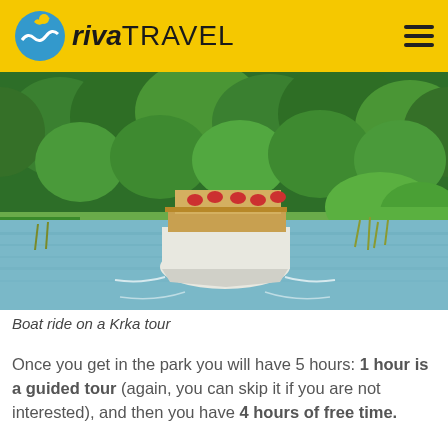riva TRAVEL
[Figure (photo): A wooden tour boat carrying passengers cruising on a calm river surrounded by dense green forest and lush vegetation on both banks — a Krka National Park boat tour scene.]
Boat ride on a Krka tour
Once you get in the park you will have 5 hours: 1 hour is a guided tour (again, you can skip it if you are not interested), and then you have 4 hours of free time.